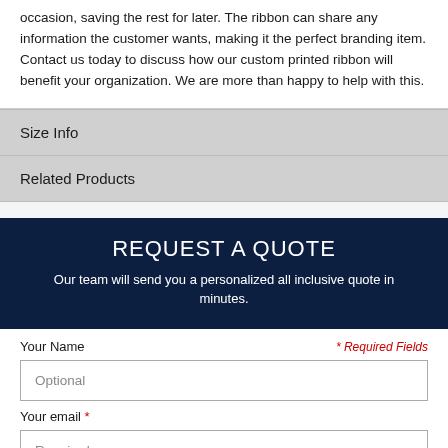occasion, saving the rest for later. The ribbon can share any information the customer wants, making it the perfect branding item. Contact us today to discuss how our custom printed ribbon will benefit your organization. We are more than happy to help with this.
Size Info
Related Products
REQUEST A QUOTE
Our team will send you a personalized all inclusive quote in minutes.
Your Name
* Required Fields
Optional
Your email *
Required